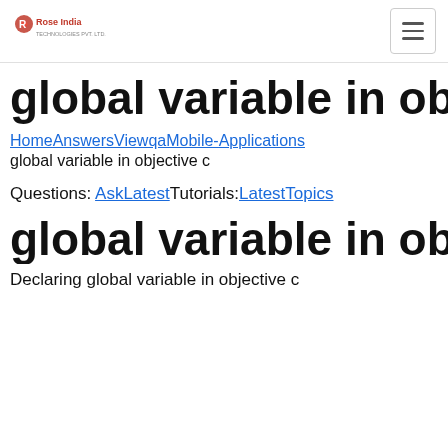Rose India | global variable in objective c
global variable in objective c
HomeAnswersViewqaMobile-Applications
global variable in objective c
Questions: AskLatestTutorials:LatestTopics
global variable in objective c
Declaring global variable in objective c